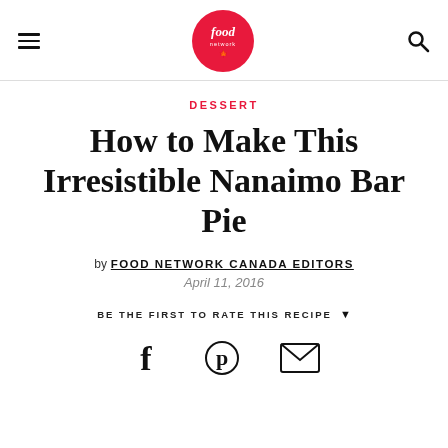Food Network Canada
DESSERT
How to Make This Irresistible Nanaimo Bar Pie
by FOOD NETWORK CANADA EDITORS
April 11, 2016
BE THE FIRST TO RATE THIS RECIPE
[Figure (other): Social sharing icons: Facebook, Pinterest, Email]